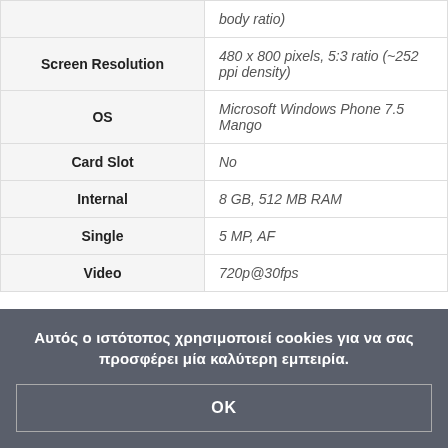| Feature | Details |
| --- | --- |
|  | body ratio) |
| Screen Resolution | 480 x 800 pixels, 5:3 ratio (~252 ppi density) |
| OS | Microsoft Windows Phone 7.5 Mango |
| Card Slot | No |
| Internal | 8 GB, 512 MB RAM |
| Single | 5 MP, AF |
| Video | 720p@30fps |
Αυτός ο ιστότοπος χρησιμοποιεί cookies για να σας προσφέρει μία καλύτερη εμπειρία.
OK